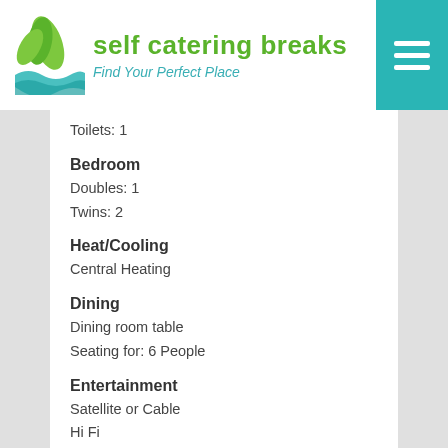self catering breaks - Find Your Perfect Place
Toilets: 1
Bedroom
Doubles: 1
Twins: 2
Heat/Cooling
Central Heating
Dining
Dining room table
Seating for: 6 People
Entertainment
Satellite or Cable
Hi Fi
TV
Video
DVD Player
Radio